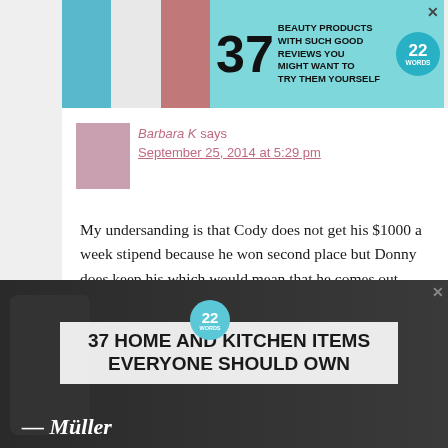[Figure (other): Advertisement banner: '37 BEAUTY PRODUCTS WITH SUCH GOOD REVIEWS YOU MIGHT WANT TO TRY THEM YOURSELF' with product photos and 22 Words badge]
Barbara K says
September 25, 2014 at 5:29 pm
My undersanding is that Cody does not get his $1000 a week stipend because he won second place but Donny does keep his which would mean that he comes out financially ahead of Cody.
Reply
tamaratattles says
[Figure (other): Advertisement banner: '37 HOME AND KITCHEN ITEMS EVERYONE SHOULD OWN' with kitchen items photo and Mueller branding, with CLOSE button]